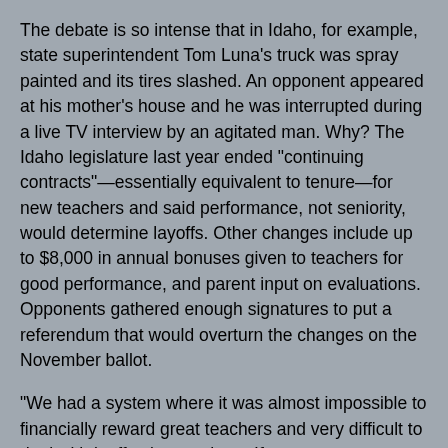The debate is so intense that in Idaho, for example, state superintendent Tom Luna's truck was spray painted and its tires slashed. An opponent appeared at his mother's house and he was interrupted during a live TV interview by an agitated man. Why? The Idaho legislature last year ended "continuing contracts"—essentially equivalent to tenure—for new teachers and said performance, not seniority, would determine layoffs. Other changes include up to $8,000 in annual bonuses given to teachers for good performance, and parent input on evaluations. Opponents gathered enough signatures to put a referendum that would overturn the changes on the November ballot.
"We had a system where it was almost impossible to financially reward great teachers and very difficult to deal with ineffective teachers. If you want an education system that truly puts students first, you have to have both," Luna said.
On Tuesday night, President Barack Obama weighed in on the issue during his State of the Union address. He said schools should be given the resources to keep and reward good teachers along with the flexibility to deal with continuity and to allow schools to remain in it would be in